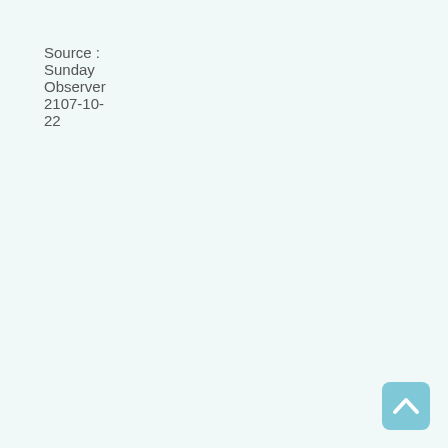Source : Sunday Observer 2107-10-22
[Figure (other): Back to top button — a light blue rounded square with a white upward-pointing chevron arrow]